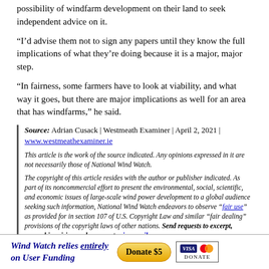possibility of windfarm development on their land to seek independent advice on it.
“I’d advise them not to sign any papers until they know the full implications of what they’re doing because it is a major, major step.
“In fairness, some farmers have to look at viability, and what way it goes, but there are major implications as well for an area that has windfarms,” he said.
Source: Adrian Cusack | Westmeath Examiner | April 2, 2021 | www.westmeathexaminer.ie
This article is the work of the source indicated. Any opinions expressed in it are not necessarily those of National Wind Watch.
The copyright of this article resides with the author or publisher indicated. As part of its noncommercial effort to present the environmental, social, scientific, and economic issues of large-scale wind power development to a global audience seeking such information, National Wind Watch endeavors to observe “fair use” as provided for in section 107 of U.S. Copyright Law and similar “fair dealing” provisions of the copyright laws of other nations. Send requests to excerpt, general inquiries, and comments via e-mail.
Wind Watch relies entirely on User Funding  Donate $5  DONATE